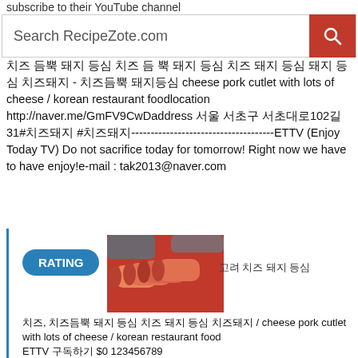subscribe to their YouTube channel
Search RecipeZote.com
치즈 듬뿍 돼지 등심 치즈 듬 뿍 돼지 등심 치즈 돼지 등심 돼지 등심 치즈돼지 - 치즈듬뿍 돼지등심 cheese pork cutlet with lots of cheese / korean restaurant foodlocation http://naver.me/GmFV9CwDaddress 서울 서초구 서초대로102길 31#치즈돼지 #치즈돼지-------------------------------------ETTV (Enjoy Today TV) Do not sacrifice today for tomorrow! Right now we have to have enjoy!e-mail : tak2013@naver.com
[Figure (photo): Food photo showing cheese pork cutlet rolls on a red cutting board, hands with blue gloves visible]
치즈, 치즈듬뿍 돼지 등심 치즈 돼지 등심 치즈돼지 / cheese pork cutlet with lots of cheese / korean restaurant food ETTV 구독하기 $0 123456789 www.recipezote.com 4.5 ★★★★☆ - "Free Recipes Download Videos MP4" Recipe Zote